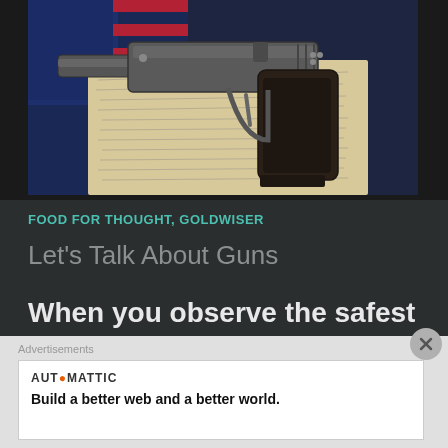[Figure (photo): A semi-automatic handgun (pistol) resting on top of handwritten documents and an American flag, viewed from above.]
FOOD FOR THOUGHT, GOLDWISER
Let's Talk About Guns
When you observe the safest states in America you will find they generally have the most open gun
Advertisements
AUTOMATTIC
Build a better web and a better world.